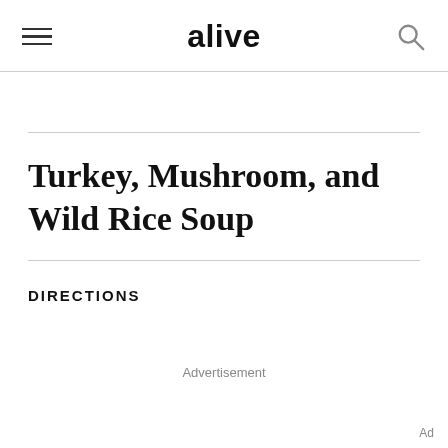alive
Turkey, Mushroom, and Wild Rice Soup
DIRECTIONS
Advertisement
Ad